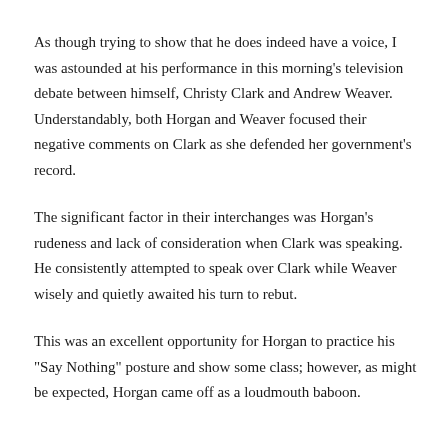As though trying to show that he does indeed have a voice, I was astounded at his performance in this morning's television debate between himself, Christy Clark and Andrew Weaver. Understandably, both Horgan and Weaver focused their negative comments on Clark as she defended her government's record.
The significant factor in their interchanges was Horgan's rudeness and lack of consideration when Clark was speaking.  He consistently attempted to speak over Clark while Weaver wisely and quietly awaited his turn to rebut.
This was an excellent opportunity for Horgan to practice his "Say Nothing" posture and show some class; however, as might be expected, Horgan came off as a loudmouth baboon.